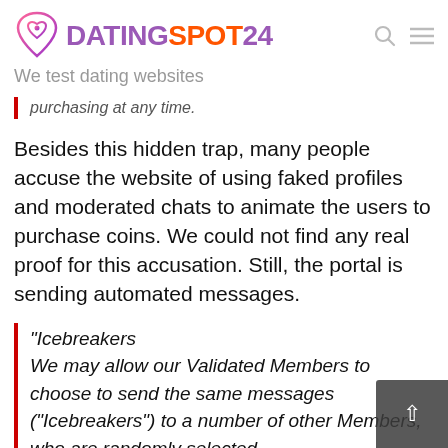DATINGSPOT24 - We test dating websites
purchasing at any time.
Besides this hidden trap, many people accuse the website of using faked profiles and moderated chats to animate the users to purchase coins. We could not find any real proof for this accusation. Still, the portal is sending automated messages.
"Icebreakers
We may allow our Validated Members to choose to send the same messages ("Icebreakers") to a number of other Members, who are randomly selected